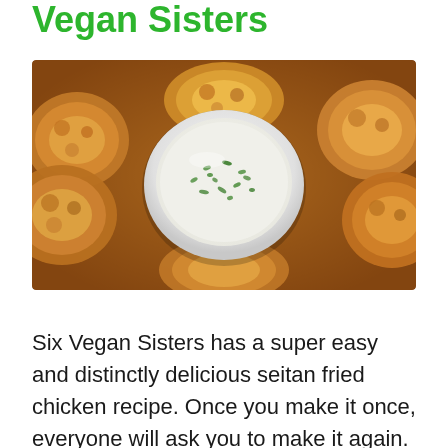Vegan Sisters
[Figure (photo): Plate of vegan seitan fried chicken pieces surrounding a small white bowl of dipping sauce with green herbs on top, viewed from above.]
Six Vegan Sisters has a super easy and distinctly delicious seitan fried chicken recipe. Once you make it once, everyone will ask you to make it again.